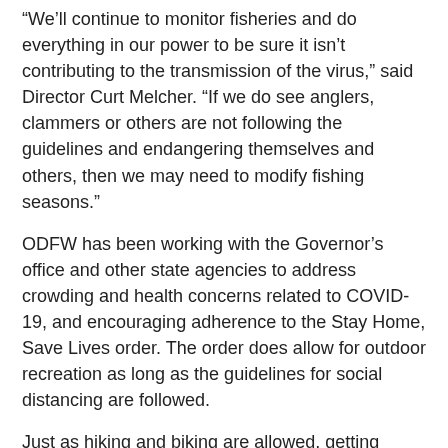“We’ll continue to monitor fisheries and do everything in our power to be sure it isn’t contributing to the transmission of the virus,” said Director Curt Melcher. “If we do see anglers, clammers or others are not following the guidelines and endangering themselves and others, then we may need to modify fishing seasons.”
ODFW has been working with the Governor’s office and other state agencies to address crowding and health concerns related to COVID-19, and encouraging adherence to the Stay Home, Save Lives order. The order does allow for outdoor recreation as long as the guidelines for social distancing are followed.
Just as hiking and biking are allowed, getting outdoors and fishing is a healthy way to get fresh air and exercise during this difficult time provided the guidelines are followed. Governor Brown’s Stay Home, Save Lives Executive Order requires that everyone:
Practice social distancing and stay six feet away from anyone who doesn’t live in your immediate household, including when outdoors.